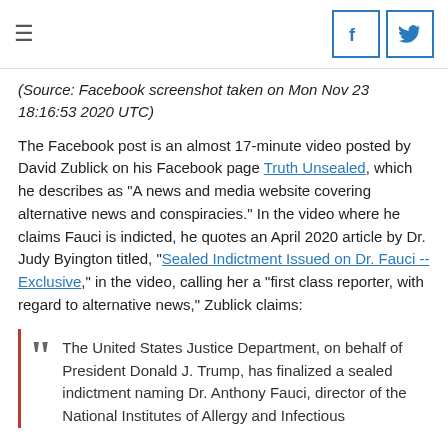≡  [Facebook icon] [Twitter icon]
(Source: Facebook screenshot taken on Mon Nov 23 18:16:53 2020 UTC)
The Facebook post is an almost 17-minute video posted by David Zublick on his Facebook page Truth Unsealed, which he describes as "A news and media website covering alternative news and conspiracies." In the video where he claims Fauci is indicted, he quotes an April 2020 article by Dr. Judy Byington titled, "Sealed Indictment Issued on Dr. Fauci -- Exclusive," in the video, calling her a "first class reporter, with regard to alternative news," Zublick claims:
The United States Justice Department, on behalf of President Donald J. Trump, has finalized a sealed indictment naming Dr. Anthony Fauci, director of the National Institutes of Allergy and Infectious